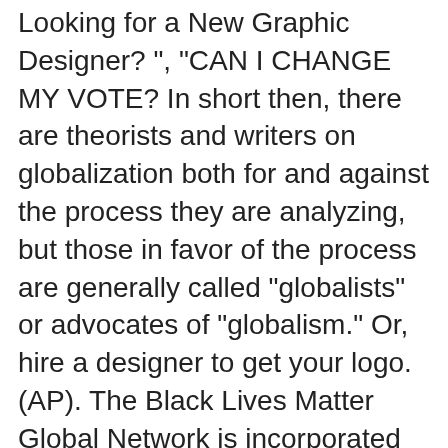Looking for a New Graphic Designer?", "CAN I CHANGE MY VOTE? In short then, there are theorists and writers on globalization both for and against the process they are analyzing, but those in favor of the process are generally called "globalists" or advocates of "globalism." Or, hire a designer to get your logo. (AP). The Black Lives Matter Global Network is incorporated in Delaware, but it's a charity that's fiscally sponsored by another nonprofit called Thousand Currents. But irrespective of origins the two terms are used in distinct ways. No, Is the Subject Area "Psychological attitudes" applicable to this article? The tweet, which has also been shared as a screenshot on Instagram, has been retweeted more than 47,000 times. International nongovernmental organizations (INGOs) are not-for-profit voluntary associations ope…, The term Third World has long served to describe countries of Africa, Asia, and Latin America that have been seen to share relatively low per-capita…, Global Warming: The Culprit? 727-821-9494, "According to its